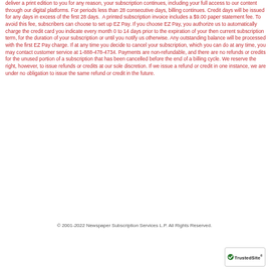deliver a print edition to you for any reason, your subscription continues, including your full access to our content through our digital platforms. For periods less than 28 consecutive days, billing continues. Credit days will be issued for any days in excess of the first 28 days. A printed subscription invoice includes a $9.00 paper statement fee. To avoid this fee, subscribers can choose to set up EZ Pay. If you choose EZ Pay, you authorize us to automatically charge the credit card you indicate every month 0 to 14 days prior to the expiration of your then current subscription term, for the duration of your subscription or until you notify us otherwise. Any outstanding balance will be processed with the first EZ Pay charge. If at any time you decide to cancel your subscription, which you can do at any time, you may contact customer service at 1-888-478-4734. Payments are non-refundable, and there are no refunds or credits for the unused portion of a subscription that has been cancelled before the end of a billing cycle. We reserve the right, however, to issue refunds or credits at our sole discretion. If we issue a refund or credit in one instance, we are under no obligation to issue the same refund or credit in the future.
© 2001-2022 Newspaper Subscription Services L.P. All Rights Reserved.
[Figure (logo): TrustedSite badge with checkmark logo]